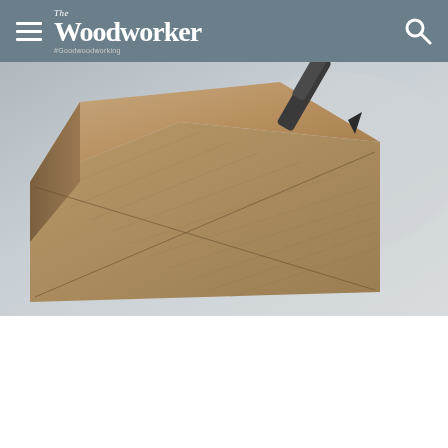The Woodworker | #Goodwoodworking
[Figure (photo): Close-up photograph of a wooden block/blank with a metal tool point touching the centre of its face, showing wood grain texture against a grey background]
3 Find the centre on the face of your blank by drawing two lines that connect each opposing corner. Where the points meet is as close to the centre as you'll need for this project. Centre finders can be very useful, but for speed and accuracy, I tend to use the straightedge method, but choose whichever method you're comfortable with. I like to mark the centres by making